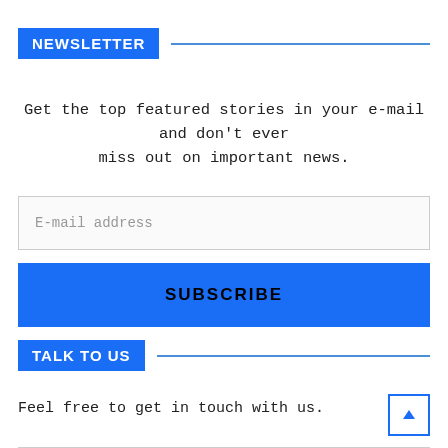NEWSLETTER
Get the top featured stories in your e-mail and don't ever miss out on important news.
E-mail address
SUBSCRIBE
TALK TO US
Feel free to get in touch with us.